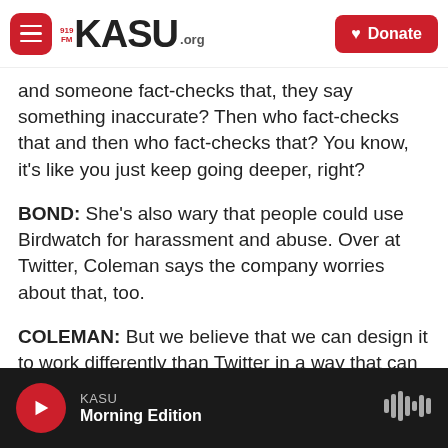919FM KASU.ORG | Donate
and someone fact-checks that, they say something inaccurate? Then who fact-checks that and then who fact-checks that? You know, it's like you just keep going deeper, right?
BOND: She's also wary that people could use Birdwatch for harassment and abuse. Over at Twitter, Coleman says the company worries about that, too.
COLEMAN: But we believe that we can design it to work differently than Twitter in a way that can handle that.
KASU Morning Edition